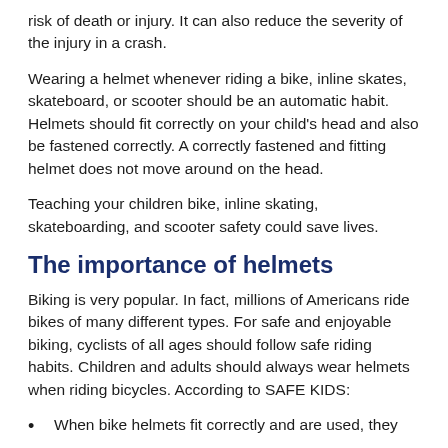risk of death or injury. It can also reduce the severity of the injury in a crash.
Wearing a helmet whenever riding a bike, inline skates, skateboard, or scooter should be an automatic habit. Helmets should fit correctly on your child's head and also be fastened correctly. A correctly fastened and fitting helmet does not move around on the head.
Teaching your children bike, inline skating, skateboarding, and scooter safety could save lives.
The importance of helmets
Biking is very popular. In fact, millions of Americans ride bikes of many different types. For safe and enjoyable biking, cyclists of all ages should follow safe riding habits. Children and adults should always wear helmets when riding bicycles. According to SAFE KIDS:
When bike helmets fit correctly and are used, they